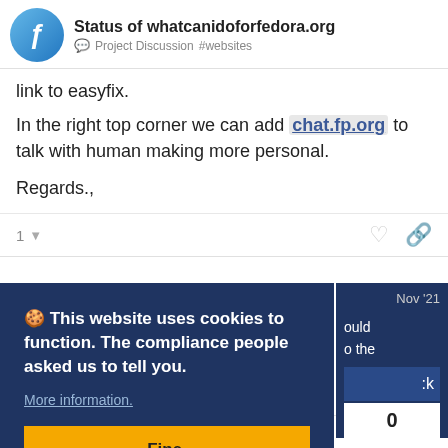Status of whatcanidoforfedora.org — Project Discussion #websites
link to easyfix.
In the right top corner we can add chat.fp.org to talk with human making more personal.
Regards.,
1
🍪 This website uses cookies to function. The compliance people asked us to tell you. More information. Fine.
Nov '21
ould
o the
ck
0
to get their feet wet would actually end u